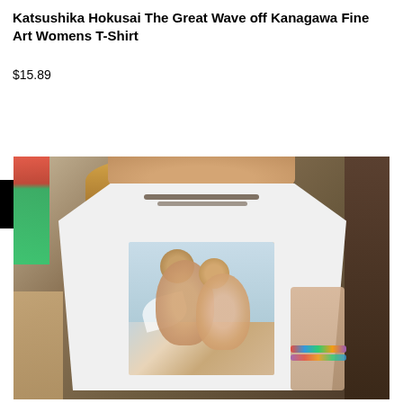Katsushika Hokusai The Great Wave off Kanagawa Fine Art Womens T-Shirt
$15.89
[Figure (other): Black dropdown/navigation bar with white text 'Fine Art T-Shirts' and a white downward-pointing triangle arrow]
[Figure (photo): A woman wearing a white t-shirt featuring a fine art print of two cherubs/angels embracing and kissing. The woman has blonde hair, wears layered necklaces, has a tattoo on her left arm, and colorful bracelets on her right wrist. Background shows green plants on the left and dark wooden elements on the right.]